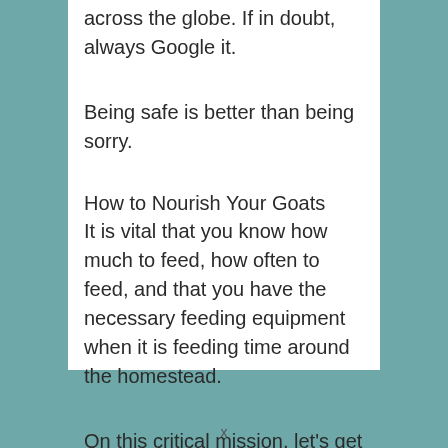across the globe. If in doubt, always Google it.
Being safe is better than being sorry.
How to Nourish Your Goats
It is vital that you know how much to feed, how often to feed, and that you have the necessary feeding equipment when it is feeding time around the homestead.
On this critical mission, let's get started.
x